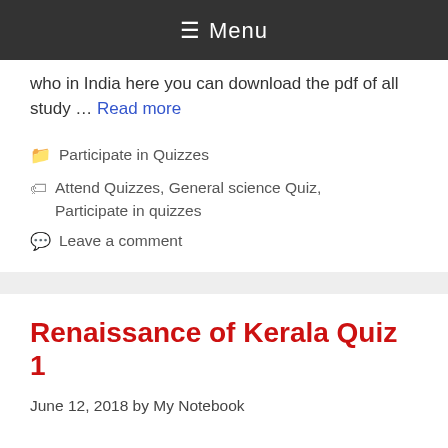≡ Menu
who in India here you can download the pdf of all study … Read more
Participate in Quizzes
Attend Quizzes, General science Quiz, Participate in quizzes
Leave a comment
Renaissance of Kerala Quiz 1
June 12, 2018 by My Notebook